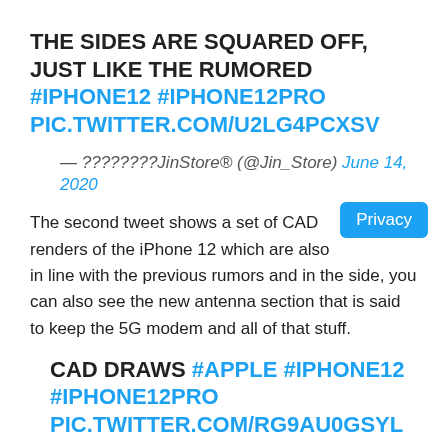THE SIDES ARE SQUARED OFF, JUST LIKE THE RUMORED #IPHONE12 #IPHONE12PRO PIC.TWITTER.COM/U2LG4PCXSV
— ????????JinStore® (@Jin_Store) June 14, 2020
The second tweet shows a set of CAD renders of the iPhone 12 which are also in line with the previous rumors and in the side, you can also see the new antenna section that is said to keep the 5G modem and all of that stuff.
CAD DRAWS #APPLE #IPHONE12 #IPHONE12PRO PIC.TWITTER.COM/RG9AU0GSYL